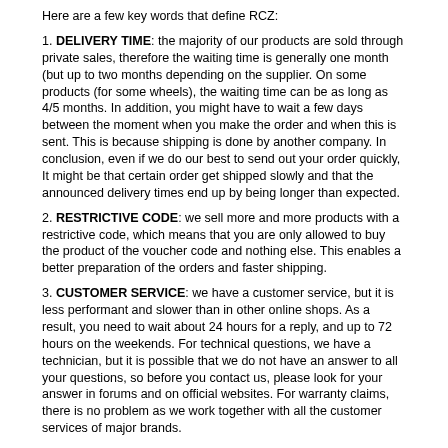Here are a few key words that define RCZ:
1. DELIVERY TIME: the majority of our products are sold through private sales, therefore the waiting time is generally one month (but up to two months depending on the supplier. On some products (for some wheels), the waiting time can be as long as 4/5 months. In addition, you might have to wait a few days between the moment when you make the order and when this is sent. This is because shipping is done by another company. In conclusion, even if we do our best to send out your order quickly, It might be that certain order get shipped slowly and that the announced delivery times end up by being longer than expected.
2. RESTRICTIVE CODE: we sell more and more products with a restrictive code, which means that you are only allowed to buy the product of the voucher code and nothing else. This enables a better preparation of the orders and faster shipping.
3. CUSTOMER SERVICE: we have a customer service, but it is less performant and slower than in other online shops. As a result, you need to wait about 24 hours for a reply, and up to 72 hours on the weekends. For technical questions, we have a technician, but it is possible that we do not have an answer to all your questions, so before you contact us, please look for your answer in forums and on official websites. For warranty claims, there is no problem as we work together with all the customer services of major brands.